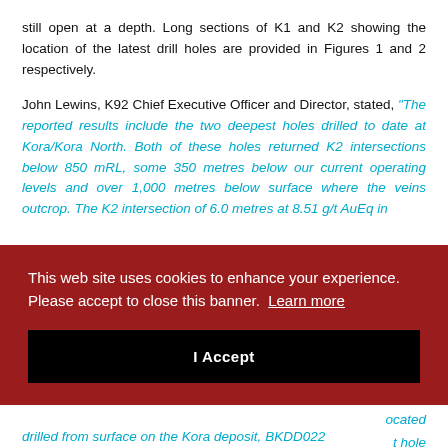still open at a depth. Long sections of K1 and K2 showing the location of the latest drill holes are provided in Figures 1 and 2 respectively.
John Lewins, K92 Chief Executive Officer and Director, stated, "The reported results include the two deepest holes drilled to date at Kora/Kora North. Both of these holes returned K2 intersections below 850 mRL, some 350 metres below our current operating levels and over 1,000 metres below surface where the veins outcrop. The K2 intersection of 6.0 metres at 8.51 g/t AuEq in [partially obscured] of the [partially obscured] 26.67 [partially obscured] strike [partially obscured] al K1 [partially obscured] nd 2.0 [partially obscured] ocated [partially obscured] hole drilled from surface on the Kora deposit, BKDD022"
This web site uses cookies to enhance your experience. Please accept to close this banner. Learn more
I Accept